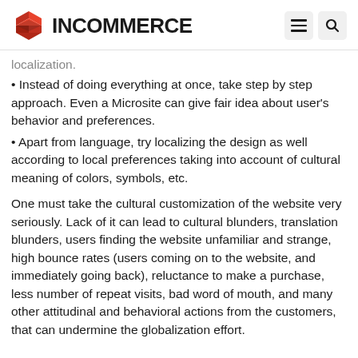INCOMMERCE
localization.
Instead of doing everything at once, take step by step approach. Even a Microsite can give fair idea about user's behavior and preferences.
Apart from language, try localizing the design as well according to local preferences taking into account of cultural meaning of colors, symbols, etc.
One must take the cultural customization of the website very seriously. Lack of it can lead to cultural blunders, translation blunders, users finding the website unfamiliar and strange, high bounce rates (users coming on to the website, and immediately going back), reluctance to make a purchase, less number of repeat visits, bad word of mouth, and many other attitudinal and behavioral actions from the customers, that can undermine the globalization effort.